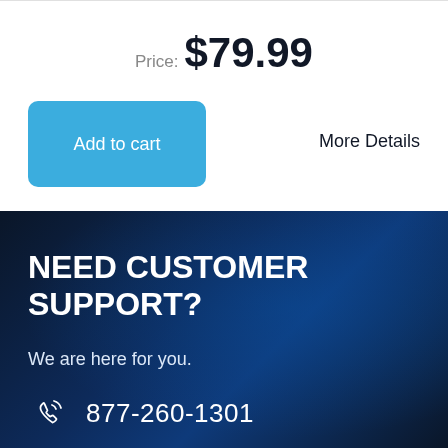Price: $79.99
Add to cart
More Details
NEED CUSTOMER SUPPORT?
We are here for you.
877-260-1301